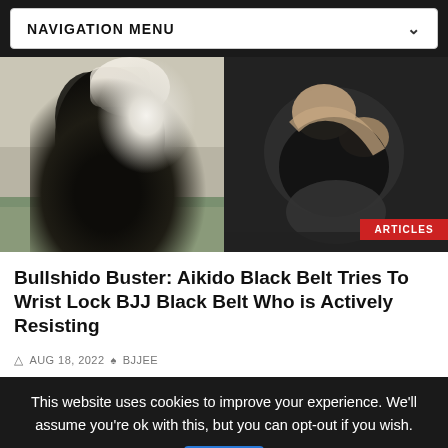NAVIGATION MENU
[Figure (photo): Two martial arts scenes side by side: left shows an Aikido practitioner in dark gi performing a throw; right shows two grapplers in dark clothing on a mat. Red 'ARTICLES' badge in bottom right.]
Bullshido Buster: Aikido Black Belt Tries To Wrist Lock BJJ Black Belt Who is Actively Resisting
AUG 18, 2022  BJJEE
This website uses cookies to improve your experience. We'll assume you're ok with this, but you can opt-out if you wish.
Ok